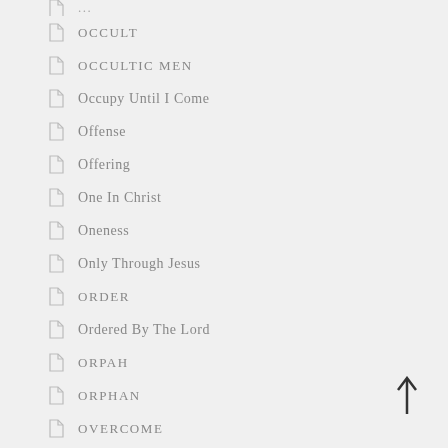OCCULT
OCCULTIC MEN
Occupy Until I Come
Offense
Offering
One In Christ
Oneness
Only Through Jesus
ORDER
Ordered By The Lord
ORPAH
ORPHAN
OVERCOME
OVERCOME FEAR